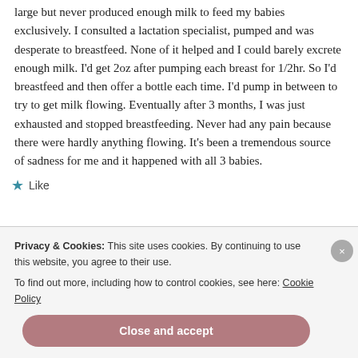large but never produced enough milk to feed my babies exclusively. I consulted a lactation specialist, pumped and was desperate to breastfeed. None of it helped and I could barely excrete enough milk. I'd get 2oz after pumping each breast for 1/2hr. So I'd breastfeed and then offer a bottle each time. I'd pump in between to try to get milk flowing. Eventually after 3 months, I was just exhausted and stopped breastfeeding. Never had any pain because there were hardly anything flowing. It's been a tremendous source of sadness for me and it happened with all 3 babies.
★ Like
Privacy & Cookies: This site uses cookies. By continuing to use this website, you agree to their use.
To find out more, including how to control cookies, see here: Cookie Policy
Close and accept